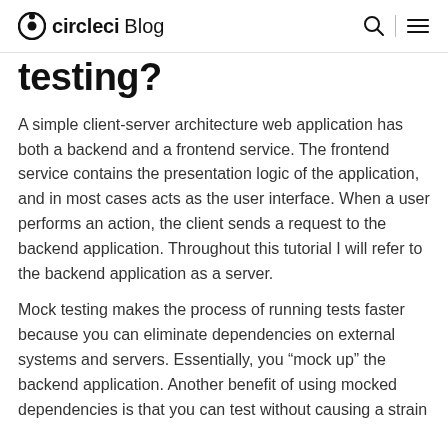circleci Blog
testing?
A simple client-server architecture web application has both a backend and a frontend service. The frontend service contains the presentation logic of the application, and in most cases acts as the user interface. When a user performs an action, the client sends a request to the backend application. Throughout this tutorial I will refer to the backend application as a server.
Mock testing makes the process of running tests faster because you can eliminate dependencies on external systems and servers. Essentially, you “mock up” the backend application. Another benefit of using mocked dependencies is that you can test without causing a strain